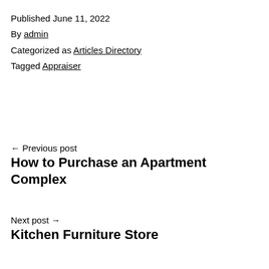Published June 11, 2022
By admin
Categorized as Articles Directory
Tagged Appraiser
← Previous post
How to Purchase an Apartment Complex
Next post →
Kitchen Furniture Store